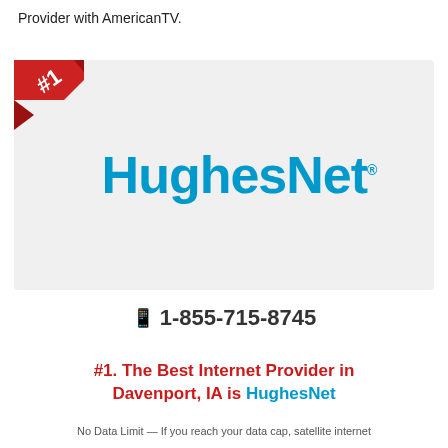Provider with AmericanTV.
[Figure (logo): HughesNet logo with #1 red ribbon badge in top-left corner on a light gray card background]
📱 1-855-715-8745
#1. The Best Internet Provider in Davenport, IA is HughesNet
No Data Limit — If you reach your data cap, satellite internet